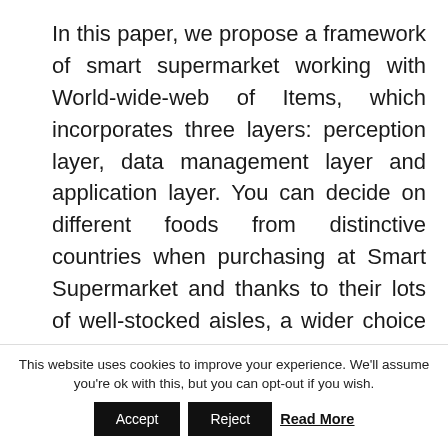In this paper, we propose a framework of smart supermarket working with World-wide-web of Items, which incorporates three layers: perception layer, data management layer and application layer. You can decide on different foods from distinctive countries when purchasing at Smart Supermarket and thanks to their lots of well-stocked aisles, a wider choice is obtainable for its' customers to pick from, when deciding on what to obtain.
If no 1 is home at the time of attempted
This website uses cookies to improve your experience. We'll assume you're ok with this, but you can opt-out if you wish.
Accept | Reject | Read More